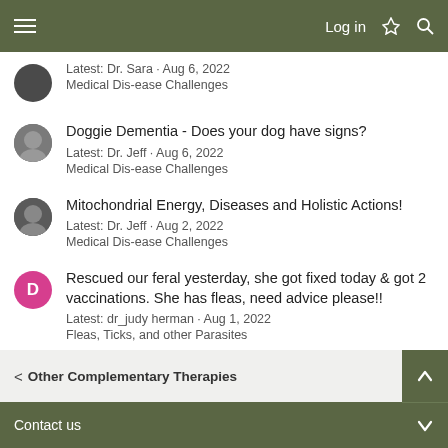Log in
Latest: Dr. Sara · Aug 6, 2022
Medical Dis-ease Challenges
Doggie Dementia - Does your dog have signs?
Latest: Dr. Jeff · Aug 6, 2022
Medical Dis-ease Challenges
Mitochondrial Energy, Diseases and Holistic Actions!
Latest: Dr. Jeff · Aug 2, 2022
Medical Dis-ease Challenges
Rescued our feral yesterday, she got fixed today & got 2 vaccinations. She has fleas, need advice please!!
Latest: dr_judy herman · Aug 1, 2022
Fleas, Ticks, and other Parasites
Other Complementary Therapies
Contact us